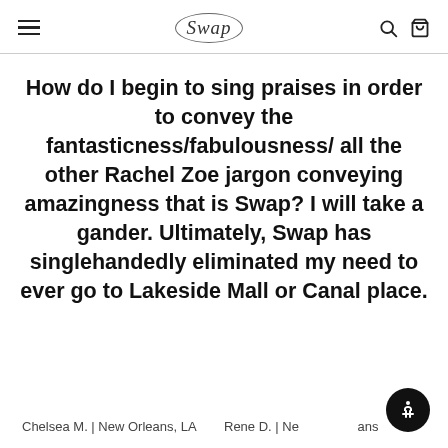Swap
How do I begin to sing praises in order to convey the fantasticness/fabulousness/ all the other Rachel Zoe jargon conveying amazingness that is Swap? I will take a gander. Ultimately, Swap has singlehandedly eliminated my need to ever go to Lakeside Mall or Canal place.
Chelsea M. | New Orleans, LA    Rene D. | New Orleans